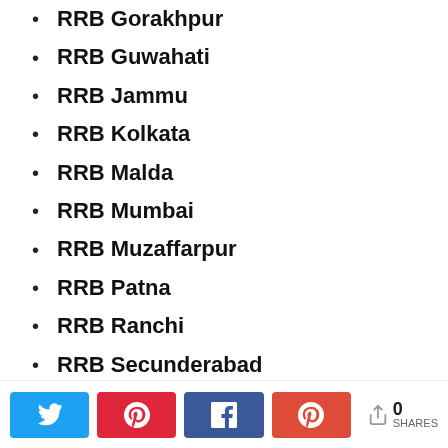RRB Gorakhpur
RRB Guwahati
RRB Jammu
RRB Kolkata
RRB Malda
RRB Mumbai
RRB Muzaffarpur
RRB Patna
RRB Ranchi
RRB Secunderabad
Twitter Pinterest Facebook Google+ 0 SHARES